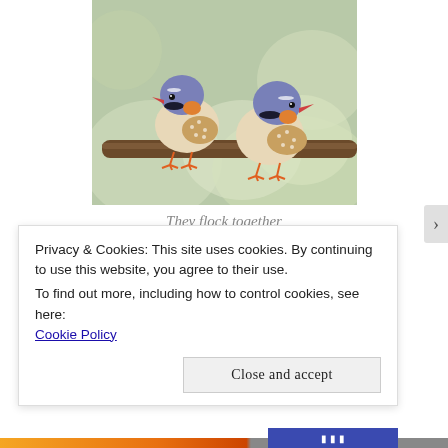[Figure (photo): Two zebra finches with purple-gray heads, red-orange beaks, orange cheek patches, spotted sides and orange feet, perched on a branch against a blurred green background.]
They flock together
Personal order can be cultivated by practicing and
Privacy & Cookies: This site uses cookies. By continuing to use this website, you agree to their use.
To find out more, including how to control cookies, see here:
Cookie Policy
Close and accept